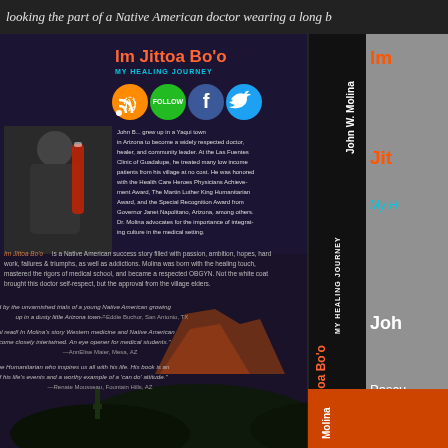looking the part of a Native American doctor wearing a long b
[Figure (photo): Book back cover and spine of 'Im Jittoa Bo'o: My Healing Journey' by John W. Molina, with dark night sky and desert landscape background, author photo, social media icons (RSS, Follow, Facebook, Twitter), biography text, and book quotes. Spine visible on right side. Partial front cover also visible.]
Im Jittoa Bo'o
MY HEALING JOURNEY
John B... grew up in a Yaqui town in Arizona to become a widely respected doctor, healer, and community leader. At the Las Fuentes Clinic of Guadalupe, he treated many low income patients from his village at no cost. He was honored with the Health Care Heroes Physicians Achievement Award, The Martin Luther King Humanitarian Award, and the Special Recognition Award from Governor Janet Napolitano, Arizona, among others. Dr. Molina advocates for the importance of integrating culture in the medical setting.
Im Jittoa Bo'o is a Native American success story filled with passion, ambition, hopes, hard work, failures & triumphs, as well as addictions. Molina was born with the healing touch, mastered the rigors of medical school, and became a respected OBGYN. Not the white coat brought this doctor self-respect, but the approval from the village elders.
"I was mesmerized by the unvarnished trials of a young Native American growing up in a dusty little Arizona town." —Eddie Buchor, San Antonio, TX
"An amazing, truthful read! In Molina's story Western medicine and Native American holistic healing become closely intertwined. An eye opener for medical students." —AnnElise Maier, Mesa, AZ
"Dr. Molina is a true Humanitarian who inspires us all with his life. His book is an honest account of his life's events and a worthy example of a 'can do' attitude." —Renate Mousseau, Fountain Hills, AZ